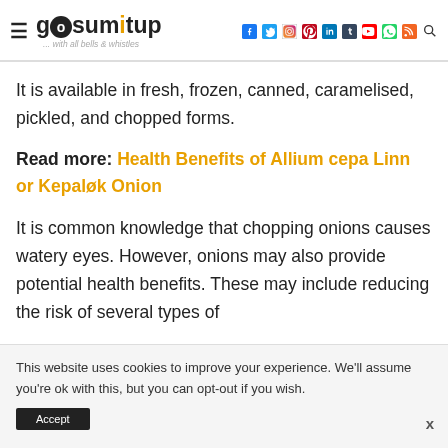gosumitup ... with all bells & whistles — social media icons: facebook, twitter, instagram, pinterest, linkedin, tumblr, youtube, whatsapp, rss, search
It is available in fresh, frozen, canned, caramelised, pickled, and chopped forms.
Read more: Health Benefits of Allium cepa Linn or Kepaløk Onion
It is common knowledge that chopping onions causes watery eyes. However, onions may also provide potential health benefits. These may include reducing the risk of several types of
This website uses cookies to improve your experience. We'll assume you're ok with this, but you can opt-out if you wish.